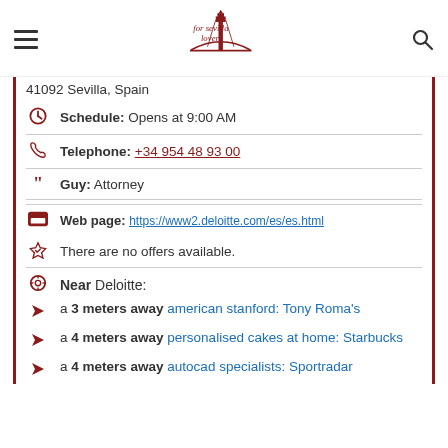For Sevilla Lovers — navigation header with logo
41092 Sevilla, Spain
Schedule: Opens at 9:00 AM
Telephone: +34 954 48 93 00
Guy: Attorney
Web page: https://www2.deloitte.com/es/es.html
There are no offers available.
Near Deloitte:
a 3 meters away american stanford: Tony Roma's
a 4 meters away personalised cakes at home: Starbucks
a 4 meters away autocad specialists: Sportradar